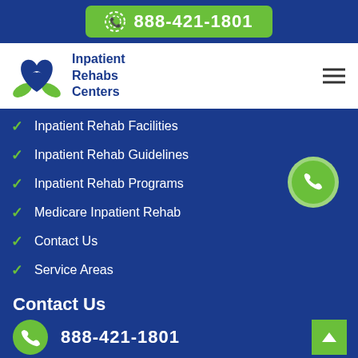[Figure (infographic): Green phone icon with animated rings on blue background bar showing phone number 888-421-1801]
[Figure (logo): Inpatient Rehabs Centers logo with green hands cradling a blue heart with bird silhouette]
Inpatient Rehabs Centers
Inpatient Rehab Facilities
Inpatient Rehab Guidelines
Inpatient Rehab Programs
Medicare Inpatient Rehab
Contact Us
Service Areas
Contact Us
888-421-1801